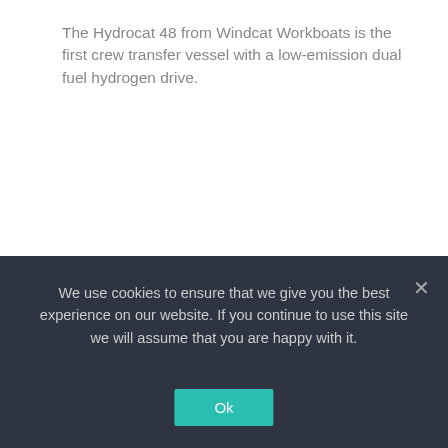The Hydrocat 48 from Windcat Workboats is the first crew transfer vessel with a low-emission dual fuel hydrogen drive.
Appreciate CleanTechnica's originality and cleantech news coverage? Consider becoming a CleanTechnica Member, Supporter, Technician, or Ambassador — or a patron on Patreon.
We use cookies to ensure that we give you the best experience on our website. If you continue to use this site we will assume that you are happy with it.